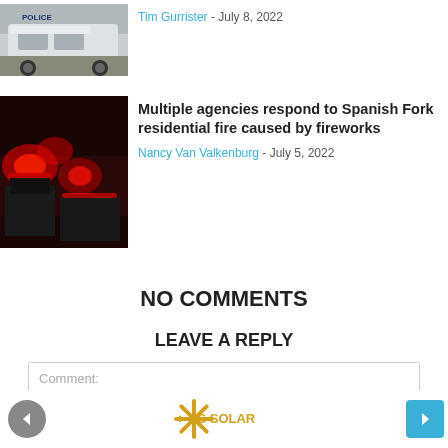[Figure (photo): Police car thumbnail at top left]
Tim Gurrister - July 8, 2022
[Figure (photo): Fire trucks with red lights at night - Spanish Fork residential fire]
Multiple agencies respond to Spanish Fork residential fire caused by fireworks
Nancy Van Valkenburg - July 5, 2022
NO COMMENTS
LEAVE A REPLY
Comment:
[Figure (logo): ES SOLAR logo with snowflake/asterisk icon in gold/yellow]
Navigation arrows left and right